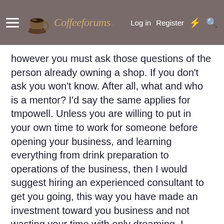CoffeeForums.com  Log in  Register
however you must ask those questions of the person already owning a shop. If you don't ask you won't know. After all, what and who is a mentor? I'd say the same applies for tmpowell. Unless you are willing to put in your own time to work for someone before opening your business, and learning everything from drink preparation to operations of the business, then I would suggest hiring an experienced consultant to get you going, this way you have made an investment toward you business and not wasting your time with only dreaming. I usually ask all of my customers in the beginning stages before they have fully committed one simple question..."Are you a dreamer or dream maker?" It may sound like a harsh question, but it's direct.
I'm almost positive that no one else will respond to this post because either they don't want to share their